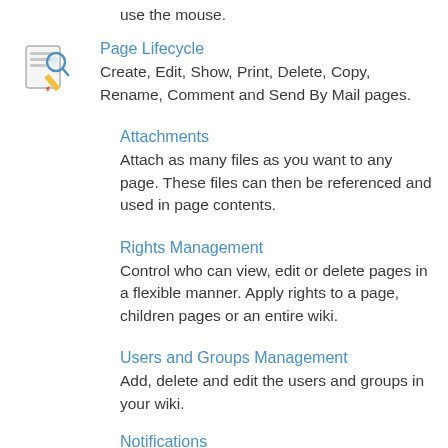use the mouse.
Page Lifecycle
Create, Edit, Show, Print, Delete, Copy, Rename, Comment and Send By Mail pages.
Attachments
Attach as many files as you want to any page. These files can then be referenced and used in page contents.
Rights Management
Control who can view, edit or delete pages in a flexible manner. Apply rights to a page, children pages or an entire wiki.
Users and Groups Management
Add, delete and edit the users and groups in your wiki.
Notifications